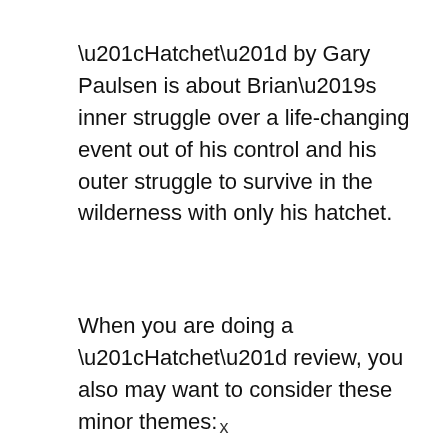“Hatchet” by Gary Paulsen is about Brian’s inner struggle over a life-changing event out of his control and his outer struggle to survive in the wilderness with only his hatchet.
When you are doing a “Hatchet” review, you also may want to consider these minor themes: